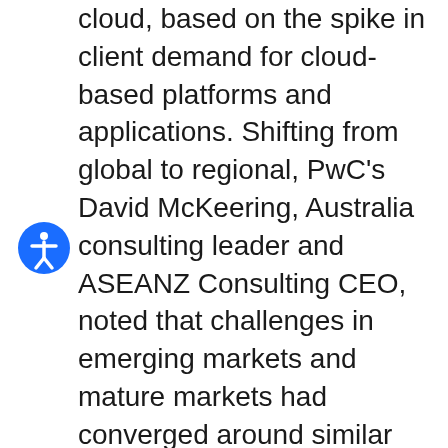cloud, based on the spike in client demand for cloud-based platforms and applications. Shifting from global to regional, PwC's David McKeering, Australia consulting leader and ASEANZ Consulting CEO, noted that challenges in emerging markets and mature markets had converged around similar themes, reflecting the international impact of the pandemic and the ubiquity of trends in technology, particularly around digital transformation. He added that PwC's clients had moved quickly to adjust to the new realities caused by COVID-19, such as a nearly all-remote workforce, and, as they had begun to understand some of the benefits of new operating environments, were now looking to PwC to help make those changes